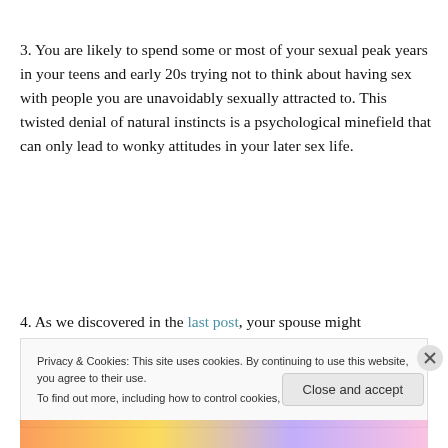3. You are likely to spend some or most of your sexual peak years in your teens and early 20s trying not to think about having sex with people you are unavoidably sexually attracted to. This twisted denial of natural instincts is a psychological minefield that can only lead to wonky attitudes in your later sex life.
4. As we discovered in the last post, your spouse might
Privacy & Cookies: This site uses cookies. By continuing to use this website, you agree to their use.
To find out more, including how to control cookies, see here: Cookie Policy